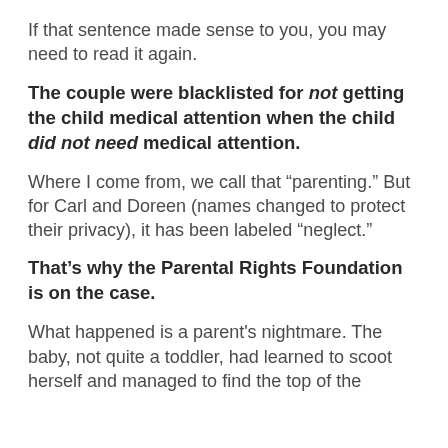If that sentence made sense to you, you may need to read it again.
The couple were blacklisted for not getting the child medical attention when the child did not need medical attention.
Where I come from, we call that “parenting.” But for Carl and Doreen (names changed to protect their privacy), it has been labeled “neglect.”
That’s why the Parental Rights Foundation is on the case.
What happened is a parent's nightmare. The baby, not quite a toddler, had learned to scoot herself and managed to find the top of the